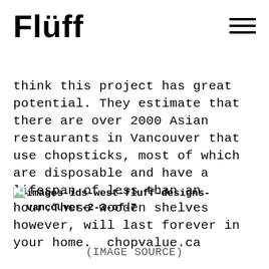Flüff
think this project has great potential. They estimate that there are over 2000 Asian restaurants in Vancouver that use chopsticks, most of which are disposable and have a lifespan of less than an hour.These wooden shelves however, will last forever in your home. chopvalue.ca
images-ids-west-fluff-designs-vancouver-2-3-of-7
(IMAGE SOURCE)